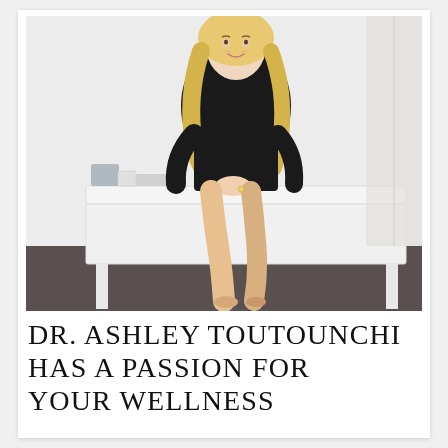[Figure (photo): A blonde woman wearing a black long-sleeve dress with a white collar sits on a white bench/table in a clean, well-lit room. She has long wavy blonde hair, is smiling, and has her legs crossed. The background shows light gray/white walls and a dark floor.]
DR. ASHLEY TOUTOUNCHI HAS A PASSION FOR YOUR WELLNESS